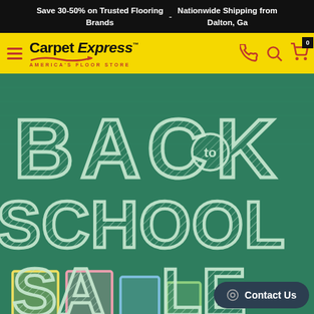Save 30-50% on Trusted Flooring Brands  -  Nationwide Shipping from Dalton, Ga
[Figure (logo): Carpet Express - America's Floor Store logo on yellow navigation bar with hamburger menu, phone, search, and cart icons]
[Figure (infographic): Back to School Sale promotional banner on dark green chalkboard background, with chalk-style lettering reading BACK TO SCHOOL SALE]
Contact Us